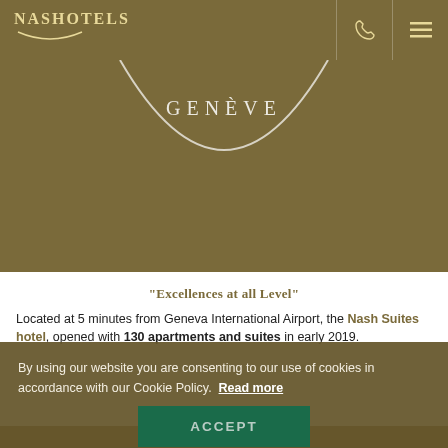[Figure (logo): NASHotels logo with decorative arc underline]
[Figure (illustration): Hotel hero image with semi-circular arc and GENEVE text on olive/tan background]
“Excellences at all Level”
Located at 5 minutes from Geneva International Airport, the Nash Suites hotel, opened with 130 apartments and suites in early 2019.
By using our website you are consenting to our use of cookies in accordance with our Cookie Policy.  Read more
ACCEPT